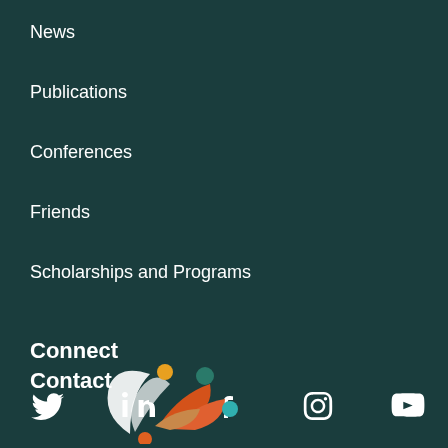News
Publications
Conferences
Friends
Scholarships and Programs
Connect
[Figure (other): Social media icons: Twitter, LinkedIn, Facebook, Instagram, YouTube]
Contact
[Figure (illustration): Decorative plant/floral logo with orange leaves, white swirl, colored dots in teal, orange, and dark teal]